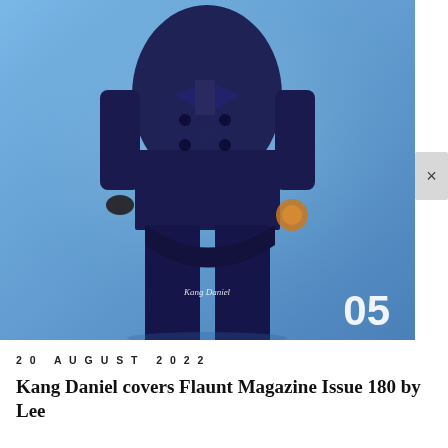[Figure (photo): A person wearing a dark navy/blue double-breasted suit standing against a light blue background. The figure is centered and shown from the chest down. A small orange/amber circular object is visible near the right hand. The number '05' is displayed in large white text in the bottom-right corner. The text 'Kang Daniel' appears in small italic white text near the bottom center of the image. A small gray close button (×) is visible in the upper right area.]
20 AUGUST 2022
Kang Daniel covers Flaunt Magazine Issue 180 by Lee